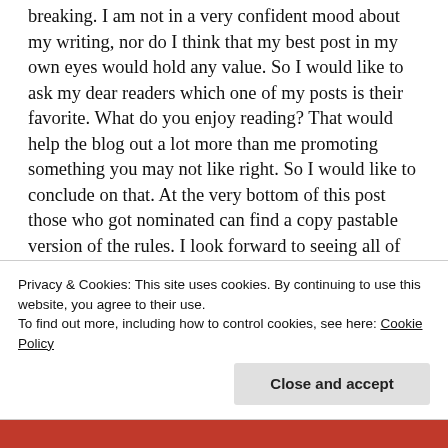breaking.  I am not in a very confident mood about my writing, nor do I think that my best post in my own eyes would hold any value. So I would like to ask my dear readers which one of my posts is their favorite. What do you enjoy reading?  That would help the blog out a lot more than me promoting something you may not like right. So I would like to conclude on that. At the very bottom of this post those who got nominated can find a copy pastable version of the rules. I look forward to seeing all of your blog posts and your comments! Love you al l and enjoy your stay in Paradise.
Privacy & Cookies: This site uses cookies. By continuing to use this website, you agree to their use.
To find out more, including how to control cookies, see here: Cookie Policy
Close and accept